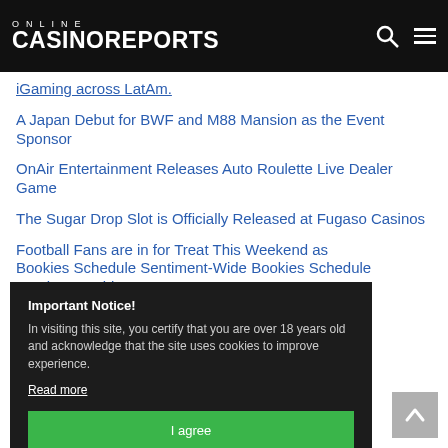ONLINE CASINOREPORTS
iGaming across LatAm.
A Japan Debut for BWF and M88 Mansion as the Event Sponsor
OnAir Entertainment Releases Auto Roulette Live Dealer Game
The Sugar Drop Slot is Officially Released at Fugaso Casinos
Football Fans are in for Treat This Weekend as Bookies Schedule Sentiment-Wide
... Story in Vibra
... ntral and Eastern ... isition
After Market Review, 888 will Reduce Investment in
Important Notice!
In visiting this site, you certify that you are over 18 years old and acknowledge that the site uses cookies to improve experience.
Read more
I agree